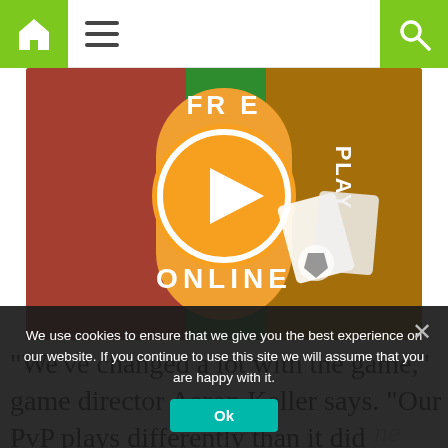Navigation bar with home icon, menu icon, and search icon
[Figure (illustration): Colorful online game promotional banner with cartoon characters, an orange circle with play button, and text reading FREE PLAY ONLINE]
“We’ve changed a lot with the game,” game director Aaron Keller says. “Our PvP plays differently than it did before. We’ve gone to a 5v5 format, removed
a ... ne form) over half ... n the roster. gameplay is more flui... d dynamic whil...
We use cookies to ensure that we give you the best experience on our website. If you continue to use this site we will assume that you are happy with it. Ok